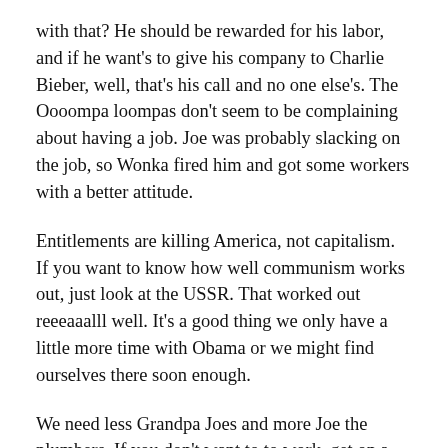with that? He should be rewarded for his labor, and if he want's to give his company to Charlie Bieber, well, that's his call and no one else's. The Oooompa loompas don't seem to be complaining about having a job. Joe was probably slacking on the job, so Wonka fired him and got some workers with a better attitude.
Entitlements are killing America, not capitalism. If you want to know how well communism works out, just look at the USSR. That worked out reeeaaalll well. It's a good thing we only have a little more time with Obama or we might find ourselves there soon enough.
We need less Grandpa Joes and more Joe the plumbers. If you don't want to to work, get on a plane and go to Russia. Say hi to